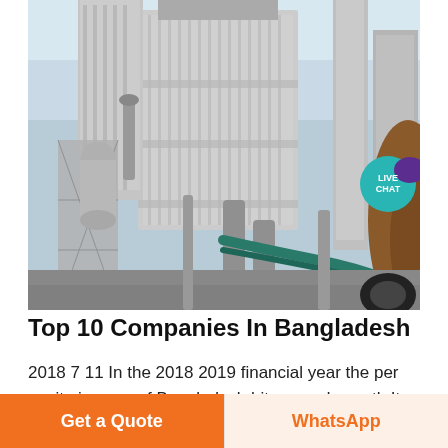[Figure (photo): Industrial facility with large grey silos, pipes, scaffolding and industrial equipment against a blue sky. Appears to be a cement or manufacturing plant in Bangladesh.]
Top 10 Companies In Bangladesh
2018 7 11 In the 2018 2019 financial year the per capita income of Bangladesh hits record growth It has achieved a 7.9 highest ever GDP growth rate in